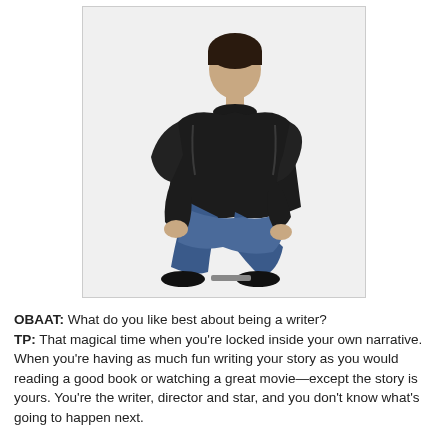[Figure (photo): A man in a black leather jacket and blue jeans sits in a crouched/squatting pose against a white background. He has short dark hair and is looking toward the camera.]
OBAAT: What do you like best about being a writer? TP: That magical time when you're locked inside your own narrative. When you're having as much fun writing your story as you would reading a good book or watching a great movie—except the story is yours. You're the writer, director and star, and you don't know what's going to happen next.